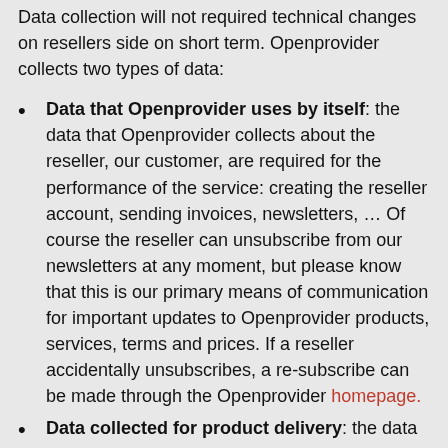Data collection will not required technical changes on resellers side on short term. Openprovider collects two types of data:
Data that Openprovider uses by itself: the data that Openprovider collects about the reseller, our customer, are required for the performance of the service: creating the reseller account, sending invoices, newsletters, … Of course the reseller can unsubscribe from our newsletters at any moment, but please know that this is our primary means of communication for important updates to Openprovider products, services, terms and prices. If a reseller accidentally unsubscribes, a re-subscribe can be made through the Openprovider homepage.
Data collected for product delivery: the data that Openprovider collects about your customers (the domain contacts and the